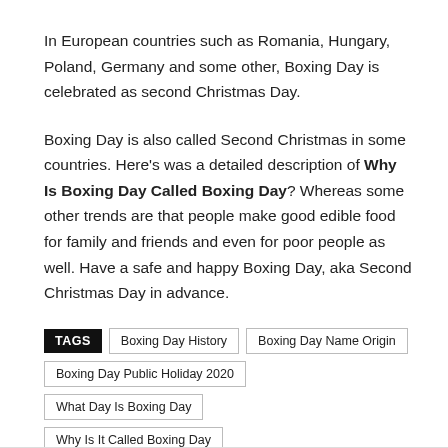In European countries such as Romania, Hungary, Poland, Germany and some other, Boxing Day is celebrated as second Christmas Day.
Boxing Day is also called Second Christmas in some countries. Here's was a detailed description of Why Is Boxing Day Called Boxing Day? Whereas some other trends are that people make good edible food for family and friends and even for poor people as well. Have a safe and happy Boxing Day, aka Second Christmas Day in advance.
TAGS: Boxing Day History | Boxing Day Name Origin | Boxing Day Public Holiday 2020 | What Day Is Boxing Day | Why Is It Called Boxing Day